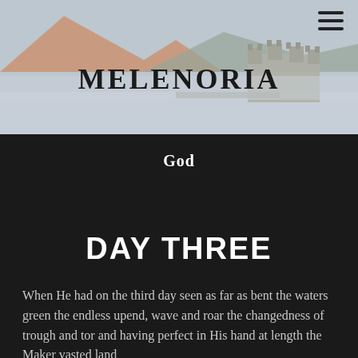[Figure (photo): Background header image of a Scottish castle on water with mountains behind, muted tones of grey-blue and orange-brown.]
MELENORIA
God
DAY THREE
When He had on the third day seen as far as bent the waters green the endless upend, wave and roar the changedness of trough and tor and having perfect in His hand at length the Maker vasted land